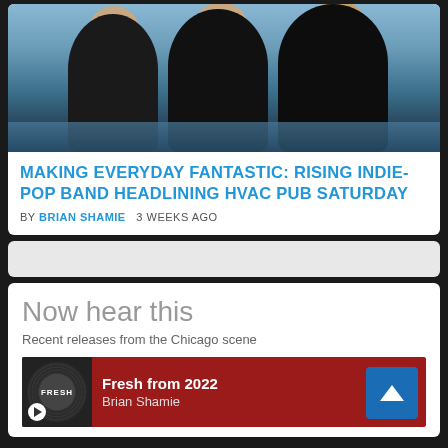[Figure (photo): Three young men in dark clothing standing outdoors near the ocean/water, sky in background]
MAKING EVERYDAY FANTASTIC: RISING INDIE-POP BAND HEADLINING HVAC PUB SATURDAY
BY BRIAN SHAMIE   3 WEEKS AGO
[Figure (other): Advertisement/banner placeholder - grey bar]
Now hear this
Recent releases from the Chicago scene
[Figure (other): Music widget showing album art with FRESH label and play button, red background. Title: Fresh from 2022, Artist: Brian Shamie]